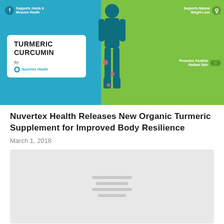[Figure (infographic): Turmeric Curcumin infographic by Nuvertex Health showing a human body silhouette on a blue-green background. Labels include 'Supports Joints & Muscles Health', 'Supports Natural Weight Loss', and 'Promotes Youthful Radiant Skin'. A white card in the lower left reads 'TURMERIC CURCUMIN By Nuvertex Health'.]
Nuvertex Health Releases New Organic Turmeric Supplement for Improved Body Resilience
March 1, 2018
[Figure (other): Gray placeholder box with four loading/placeholder lines centered inside, representing content not yet loaded.]